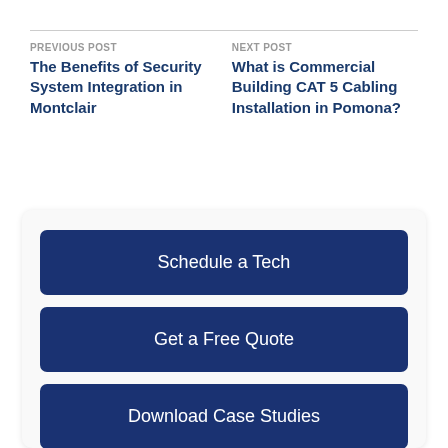PREVIOUS POST
The Benefits of Security System Integration in Montclair
NEXT POST
What is Commercial Building CAT 5 Cabling Installation in Pomona?
Schedule a Tech
Get a Free Quote
Download Case Studies
Download our case studies to learn how we've helped to improve operational